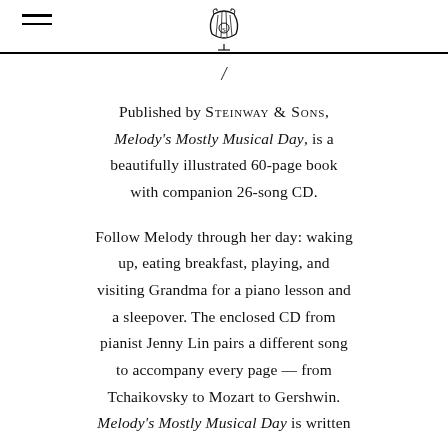[Logo: lyre/harp ornament, hamburger menu icon]
[Figure (logo): Decorative lyre/harp ornamental logo centered at top]
Published by STEINWAY & SONS, Melody's Mostly Musical Day, is a beautifully illustrated 60-page book with companion 26-song CD.
Follow Melody through her day: waking up, eating breakfast, playing, and visiting Grandma for a piano lesson and a sleepover. The enclosed CD from pianist Jenny Lin pairs a different song to accompany every page — from Tchaikovsky to Mozart to Gershwin. Melody's Mostly Musical Day is written